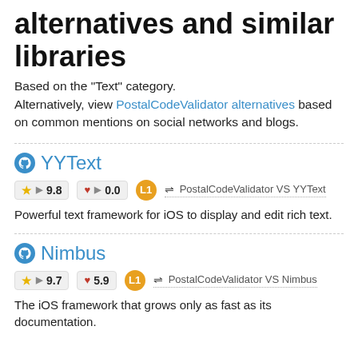alternatives and similar libraries
Based on the "Text" category.
Alternatively, view PostalCodeValidator alternatives based on common mentions on social networks and blogs.
YYText
★ ▶ 9.8   ♥ ▶ 0.0   L1   ⇌ PostalCodeValidator VS YYText
Powerful text framework for iOS to display and edit rich text.
Nimbus
★ ▶ 9.7   ♥ 5.9   L1   ⇌ PostalCodeValidator VS Nimbus
The iOS framework that grows only as fast as its documentation.